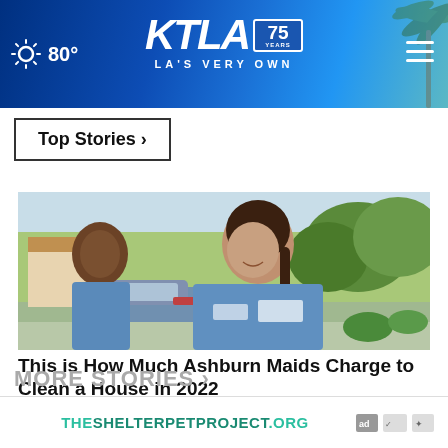KTLA 75 Years - LA'S VERY OWN | 80°
Top Stories ›
[Figure (photo): Two women in blue uniforms smiling outdoors, residential neighborhood in background with cars and trees]
This is How Much Ashburn Maids Charge to Clean a House in 2022
Ad by CleaningServices
THESHELTERPETPROJECT.ORG
MORE STORIES ›